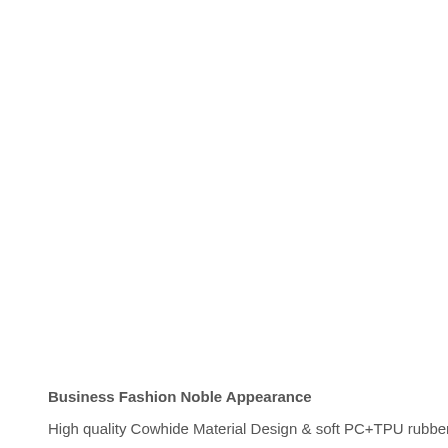Business Fashion Noble Appearance
High quality Cowhide Material Design & soft PC+TPU rubber